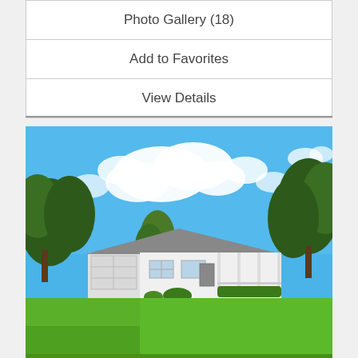Photo Gallery (18)
Add to Favorites
View Details
[Figure (photo): Exterior photo of a white ranch-style house with a covered front porch, attached garage, large green lawn, mature trees, and a bright blue sky with white clouds.]